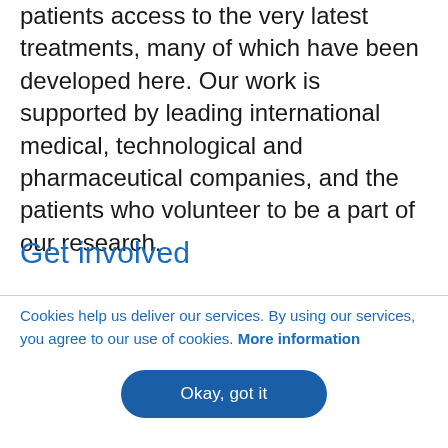patients access to the very latest treatments, many of which have been developed here. Our work is supported by leading international medical, technological and pharmaceutical companies, and the patients who volunteer to be a part of our research.
Get involved
Cookies help us deliver our services. By using our services, you agree to our use of cookies. More information
Okay, got it